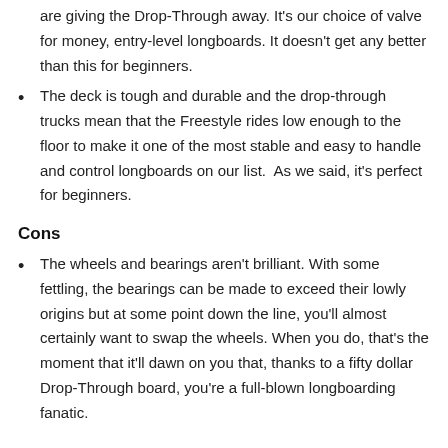are giving the Drop-Through away. It's our choice of valve for money, entry-level longboards. It doesn't get any better than this for beginners.
The deck is tough and durable and the drop-through trucks mean that the Freestyle rides low enough to the floor to make it one of the most stable and easy to handle and control longboards on our list.  As we said, it's perfect for beginners.
Cons
The wheels and bearings aren't brilliant. With some fettling, the bearings can be made to exceed their lowly origins but at some point down the line, you'll almost certainly want to swap the wheels. When you do, that's the moment that it'll dawn on you that, thanks to a fifty dollar Drop-Through board, you're a full-blown longboarding fanatic.